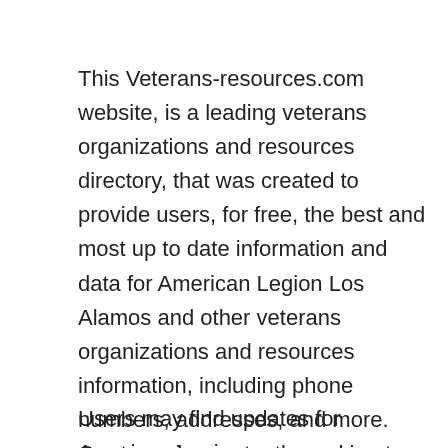This Veterans-resources.com website, is a leading veterans organizations and resources directory, that was created to provide users, for free, the best and most up to date information and data for American Legion Los Alamos and other veterans organizations and resources information, including phone numbers, addresses, and more. Our team is constantly working to ensure we provide you the best American Legion Los Alamos details and information.
Users may find updates for American Legion